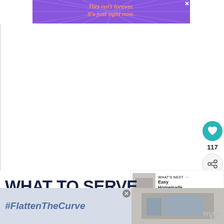[Figure (screenshot): Purple advertisement banner reading 'This isn't forever. It's just right now.' with sunburst lines in background]
[Figure (screenshot): Large white content area with social sidebar showing heart button with 117 count and share button]
[Figure (screenshot): What's Next panel with thumbnail and text 'Easy Homemade...']
WHAT TO SERVE WITH CARAMEL BRÛLÉE LATTES
[Figure (screenshot): Bottom advertisement banner with #FlattenTheCurve text and image of hands washing, with W logo watermark]